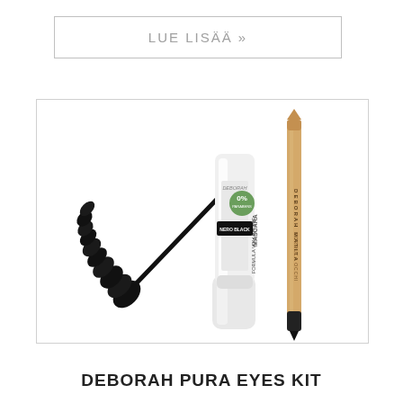LUE LISÄÄ »
[Figure (photo): Deborah Pura Eyes Kit product photo showing a white mascara tube with brush applicator extended to the left, and a wooden beige eye pencil with black tip to the right. The mascara tube shows text 'MASCARA FORMULA VOLUMIZING' and a green 0% badge. The pencil reads 'DEBORAH MATITA' vertically.]
DEBORAH PURA EYES KIT